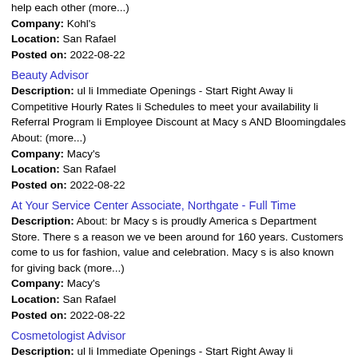help each other (more...)
Company: Kohl's
Location: San Rafael
Posted on: 2022-08-22
Beauty Advisor
Description: ul li Immediate Openings - Start Right Away li Competitive Hourly Rates li Schedules to meet your availability li Referral Program li Employee Discount at Macy s AND Bloomingdales About: (more...)
Company: Macy's
Location: San Rafael
Posted on: 2022-08-22
At Your Service Center Associate, Northgate - Full Time
Description: About: br Macy s is proudly America s Department Store. There s a reason we ve been around for 160 years. Customers come to us for fashion, value and celebration. Macy s is also known for giving back (more...)
Company: Macy's
Location: San Rafael
Posted on: 2022-08-22
Cosmetologist Advisor
Description: ul li Immediate Openings - Start Right Away li Competitive Hourly Rates li Schedules to meet your availability li Referral Program li Employee Discount at Macy s AND Bloomingdales About: (more...)